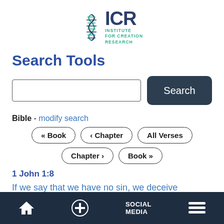[Figure (logo): ICR - Institute for Creation Research logo with DNA helix graphic]
Search Tools
Bible - modify search
« Book   ‹ Chapter   All Verses   Chapter ›   Book »
1 John 1:8
If we say that we have no sin, we deceive ourselves, and the truth is not in us.
Home | + | SOCIAL MEDIA | Menu